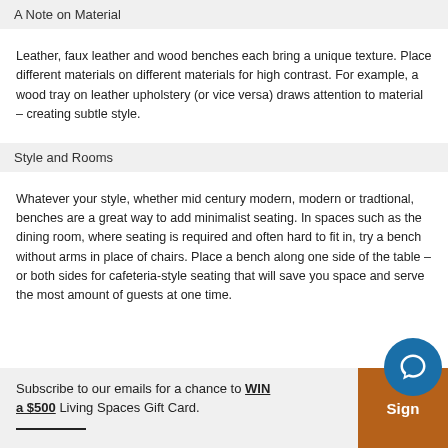A Note on Material
Leather, faux leather and wood benches each bring a unique texture. Place different materials on different materials for high contrast. For example, a wood tray on leather upholstery (or vice versa) draws attention to material – creating subtle style.
Style and Rooms
Whatever your style, whether mid century modern, modern or tradtional, benches are a great way to add minimalist seating. In spaces such as the dining room, where seating is required and often hard to fit in, try a bench without arms in place of chairs. Place a bench along one side of the table – or both sides for cafeteria-style seating that will save you space and serve the most amount of guests at one time.
Subscribe to our emails for a chance to WIN a $500 Living Spaces Gift Card.